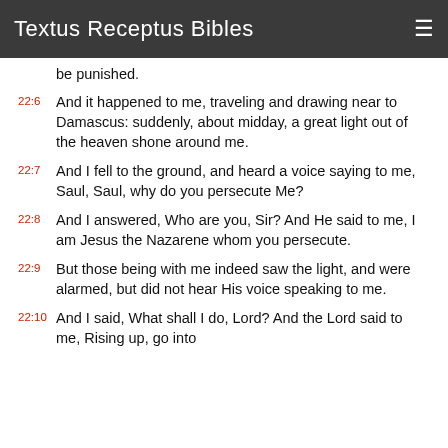Textus Receptus Bibles
be punished.
22:6 And it happened to me, traveling and drawing near to Damascus: suddenly, about midday, a great light out of the heaven shone around me.
22:7 And I fell to the ground, and heard a voice saying to me, Saul, Saul, why do you persecute Me?
22:8 And I answered, Who are you, Sir? And He said to me, I am Jesus the Nazarene whom you persecute.
22:9 But those being with me indeed saw the light, and were alarmed, but did not hear His voice speaking to me.
22:10 And I said, What shall I do, Lord? And the Lord said to me, Rising up, go into